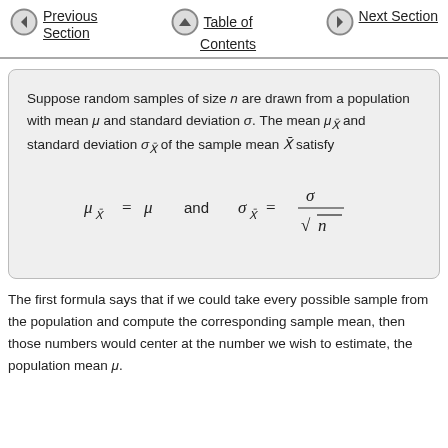Previous Section   Table of Contents   Next Section
Suppose random samples of size n are drawn from a population with mean μ and standard deviation σ. The mean μ_x̄ and standard deviation σ_x̄ of the sample mean X̄ satisfy
The first formula says that if we could take every possible sample from the population and compute the corresponding sample mean, then those numbers would center at the number we wish to estimate, the population mean μ.